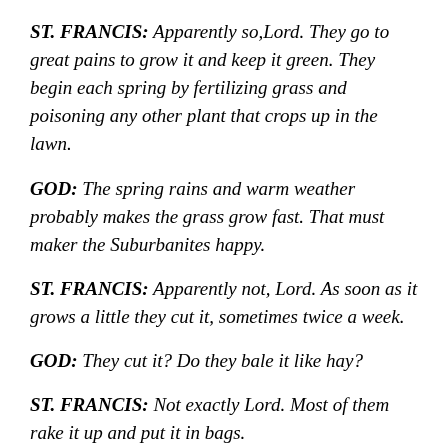ST. FRANCIS: Apparently so,Lord. They go to great pains to grow it and keep it green. They begin each spring by fertilizing grass and poisoning any other plant that crops up in the lawn.
GOD: The spring rains and warm weather probably makes the grass grow fast. That must maker the Suburbanites happy.
ST. FRANCIS: Apparently not, Lord. As soon as it grows a little they cut it, sometimes twice a week.
GOD: They cut it? Do they bale it like hay?
ST. FRANCIS: Not exactly Lord. Most of them rake it up and put it in bags.